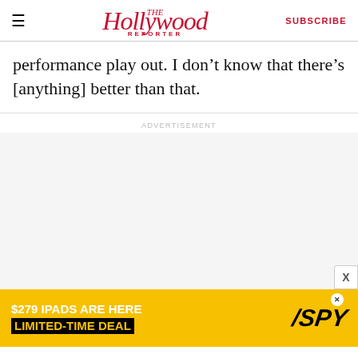The Hollywood Reporter — SUBSCRIBE
performance play out. I don’t know that there’s [anything] better than that.
[Figure (other): Advertisement placeholder area with ADVERTISEMENT label, followed by banner ad: $279 IPADS ARE HERE LIMITED-TIME DEAL with SPY logo on yellow background]